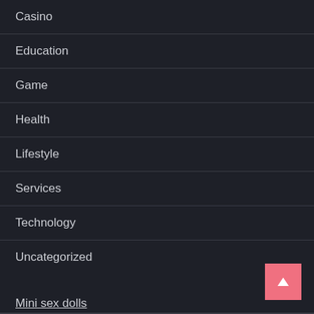Casino
Education
Game
Health
Lifestyle
Services
Technology
Uncategorized
Mini sex dolls